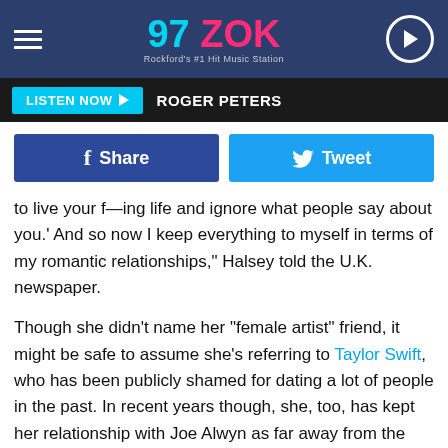97 ZOK — Rockford's #1 Hit Music Station
LISTEN NOW  ROGER PETERS
Share   Tweet
to live your f—ing life and ignore what people say about you.' And so now I keep everything to myself in terms of my romantic relationships," Halsey told the U.K. newspaper.
Though she didn't name her "female artist" friend, it might be safe to assume she's referring to Taylor Swift, who has been publicly shamed for dating a lot of people in the past. In recent years though, she, too, has kept her relationship with Joe Alwyn as far away from the spotlight as possible and she seems happier than ever.
"I will say that it's good to not date another musician as then